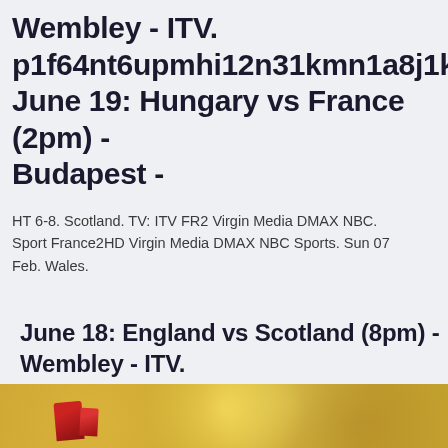Wembley - ITV. p1f64nt6upmhi12n31kmn1a8j1kobf.jp June 19: Hungary vs France (2pm) - Budapest -
HT 6-8. Scotland. TV: ITV FR2 Virgin Media DMAX NBC. Sport France2HD Virgin Media DMAX NBC Sports. Sun 07 Feb. Wales.
June 18: England vs Scotland (8pm) - Wembley - ITV. p1f64nt6upmhi12n31kmn1a8j1kobf.jpg. June 19: Hungary vs France (2pm) - Budapest -
[Figure (photo): Blurred bokeh photo with warm yellow and orange tones, featuring dark red/maroon shapes in the lower portion]